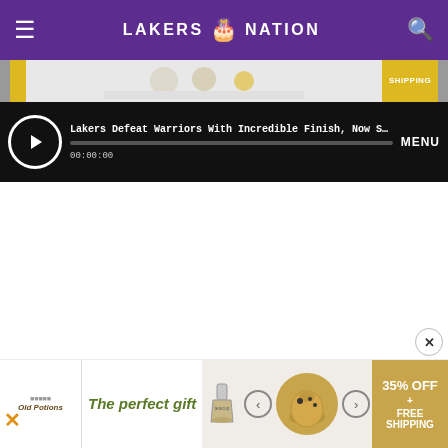LAKERS NATION
[Figure (screenshot): Video player bar showing 'Lakers Defeat Warriors With Incredible Finish, Now Set ...' with play button, progress bar, timestamp 00:00:00, and MENU button on dark background]
[Figure (screenshot): Bottom advertisement banner: 'The perfect gift' with product carousel, arrows, and '35% OFF + FREE SHIPPING' gold promo box]